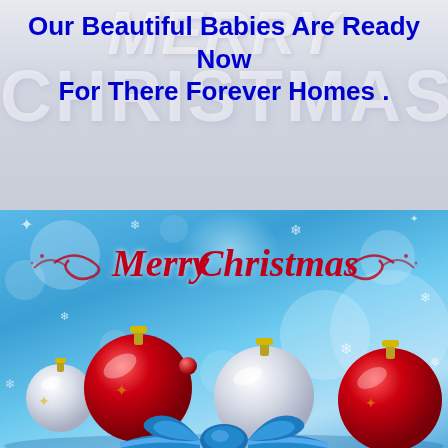Our Beautiful Babies Are Ready Now For There Forever Homes .
[Figure (illustration): Christmas greeting card with blue background, red and white ornament balls, blue ribbon bow, and 'Merry Christmas' text in red italic script with decorative swirls, snowflakes, and bokeh light effects.]